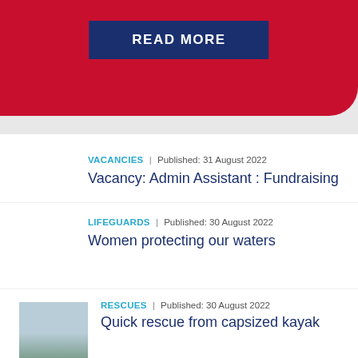[Figure (other): Red banner background with READ MORE button in dark navy blue]
READ MORE
VACANCIES | Published: 31 August 2022
Vacancy: Admin Assistant : Fundraising
LIFEGUARDS | Published: 30 August 2022
Women protecting our waters
RESCUES | Published: 30 August 2022
[Figure (photo): Small thumbnail photo of water/kayak scene]
Quick rescue from capsized kayak